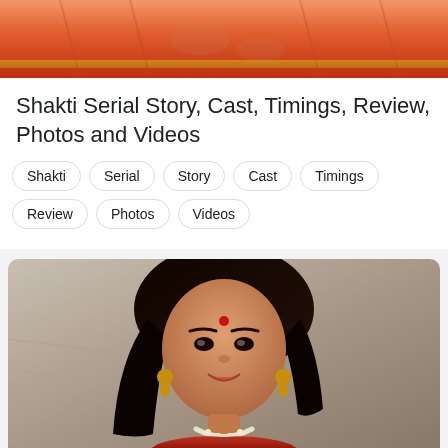[Figure (photo): Partial view of a woman in a red/orange saree, cropped at upper body]
Shakti Serial Story, Cast, Timings, Review, Photos and Videos
Shakti
Serial
Story
Cast
Timings
Review
Photos
Videos
[Figure (photo): Portrait photo of a young Indian woman with long black hair, bindi on forehead, wearing gold earrings and a red saree with pearl necklace, smiling, standing against a stone wall background]